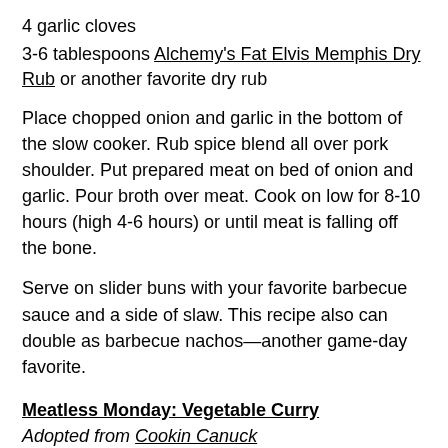4 garlic cloves
3-6 tablespoons Alchemy's Fat Elvis Memphis Dry Rub or another favorite dry rub
Place chopped onion and garlic in the bottom of the slow cooker. Rub spice blend all over pork shoulder. Put prepared meat on bed of onion and garlic. Pour broth over meat. Cook on low for 8-10 hours (high 4-6 hours) or until meat is falling off the bone.
Serve on slider buns with your favorite barbecue sauce and a side of slaw. This recipe also can double as barbecue nachos—another game-day favorite.
Meatless Monday: Vegetable Curry
Adopted from Cookin Canuck
1 medium onion, diced
2 tablespoons minced ginger